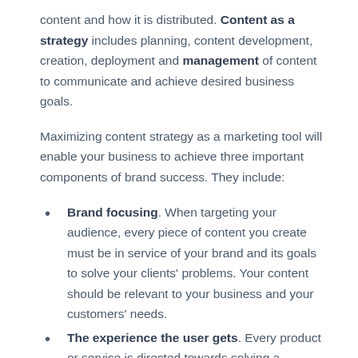content and how it is distributed. Content as a strategy includes planning, content development, creation, deployment and management of content to communicate and achieve desired business goals.
Maximizing content strategy as a marketing tool will enable your business to achieve three important components of brand success. They include:
Brand focusing. When targeting your audience, every piece of content you create must be in service of your brand and its goals to solve your clients' problems. Your content should be relevant to your business and your customers' needs.
The experience the user gets. Every product or service is directed towards solving a problem or two that your audience is having. It's all about the experience you want your customers to have from